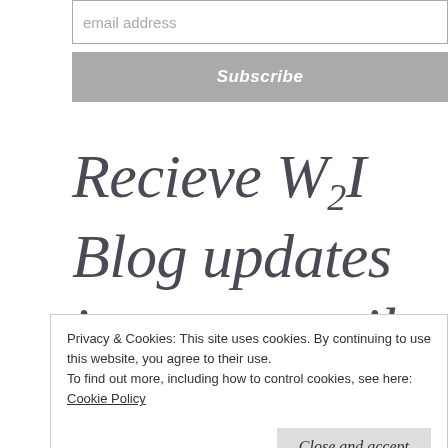email address
Subscribe
Recieve W2I Blog updates in your email inbox. Subscribe below.
Privacy & Cookies: This site uses cookies. By continuing to use this website, you agree to their use.
To find out more, including how to control cookies, see here: Cookie Policy
Close and accept
Join 128 other subscribers